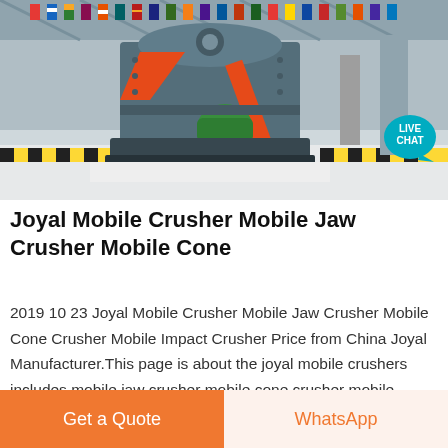[Figure (photo): Industrial mobile crusher machine displayed in a large warehouse/exhibition hall with colorful international flags hanging from the ceiling. The machine is a large grey vertical crusher with orange chute and green components, sitting on a white gravel floor with yellow/black safety striping visible.]
Joyal Mobile Crusher Mobile Jaw Crusher Mobile Cone
2019 10 23 Joyal Mobile Crusher Mobile Jaw Crusher Mobile Cone Crusher Mobile Impact Crusher Price from China Joyal Manufacturer.This page is about the joyal mobile crushers includes mobile jaw crusher mobile cone crusher mobile impact crusher